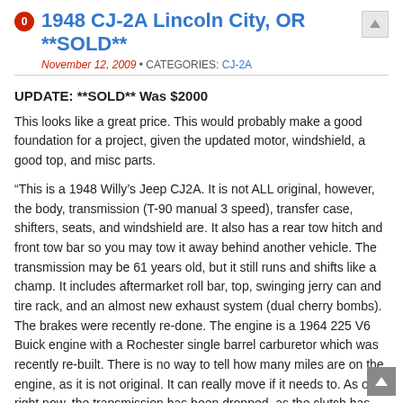1948 CJ-2A Lincoln City, OR **SOLD**
November 12, 2009 • CATEGORIES: CJ-2A
UPDATE: **SOLD** Was $2000
This looks like a great price.  This would probably make a good foundation for a project, given the updated motor, windshield, a good top, and misc parts.
“This is a 1948 Willy’s Jeep CJ2A. It is not ALL original, however, the body, transmission (T-90 manual 3 speed), transfer case, shifters, seats, and windshield are. It also has a rear tow hitch and front tow bar so you may tow it away behind another vehicle. The transmission may be 61 years old, but it still runs and shifts like a champ. It includes aftermarket roll bar, top, swinging jerry can and tire rack, and an almost new exhaust system (dual cherry bombs). The brakes were recently re-done. The engine is a 1964 225 V6 Buick engine with a Rochester single barrel carburetor which was recently re-built. There is no way to tell how many miles are on the engine, as it is not original. It can really move if it needs to. As of right now, the transmission has been dropped, as the clutch has gone out, and will need to be